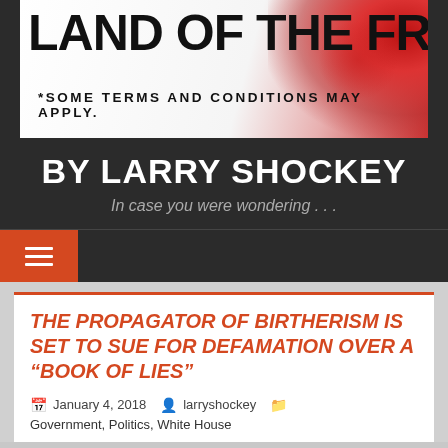[Figure (illustration): Blog header banner reading 'LAND OF THE FREE*' with subtitle '*SOME TERMS AND CONDITIONS MAY APPLY.' on a white/red splattered background]
BY LARRY SHOCKEY
In case you were wondering . . .
[Figure (other): Navigation bar with orange hamburger menu button]
THE PROPAGATOR OF BIRTHERISM IS SET TO SUE FOR DEFAMATION OVER A “BOOK OF LIES”
January 4, 2018   larryshockey   Government, Politics, White House